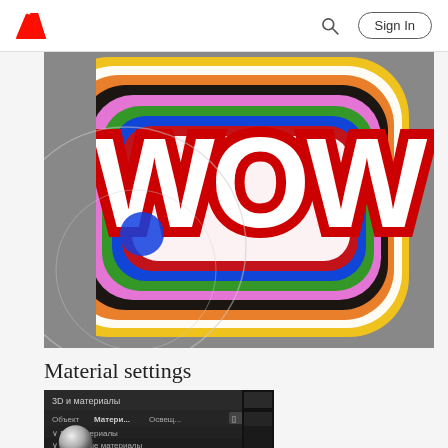Adobe — Sign In
[Figure (photo): 3D rendered colorful layered text spelling 'WOW' with rainbow concentric outlines (orange, black, white, yellow, pink, green, blue, red, white) on a gray background]
Material settings
[Figure (screenshot): Adobe 3D and Materials panel screenshot in Russian UI showing Object, Materials, Environment tabs and material settings]